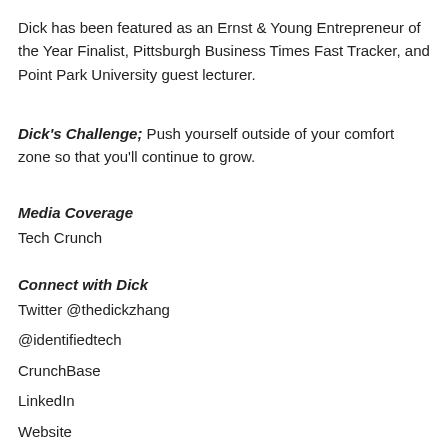Dick has been featured as an Ernst & Young Entrepreneur of the Year Finalist, Pittsburgh Business Times Fast Tracker, and Point Park University guest lecturer.
Dick's Challenge; Push yourself outside of your comfort zone so that you'll continue to grow.
Media Coverage
Tech Crunch
Connect with Dick
Twitter @thedickzhang
@identifiedtech
CrunchBase
LinkedIn
Website